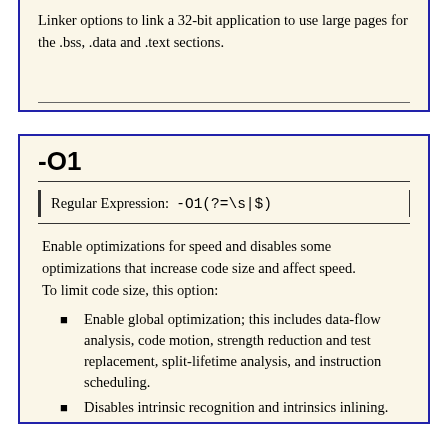Linker options to link a 32-bit application to use large pages for the .bss, .data and .text sections.
-O1
Regular Expression: -O1(?=\s|$)
Enable optimizations for speed and disables some optimizations that increase code size and affect speed.
To limit code size, this option:
Enable global optimization; this includes data-flow analysis, code motion, strength reduction and test replacement, split-lifetime analysis, and instruction scheduling.
Disables intrinsic recognition and intrinsics inlining.